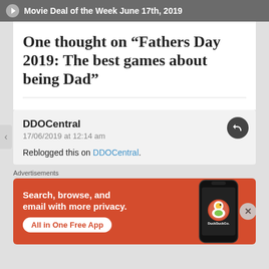Movie Deal of the Week June 17th, 2019
One thought on “Fathers Day 2019: The best games about being Dad”
DDOCentral
17/06/2019 at 12:14 am

Reblogged this on DDOCentral.
Advertisements
[Figure (infographic): DuckDuckGo advertisement banner. Orange background with white text: 'Search, browse, and email with more privacy.' and a white pill button reading 'All in One Free App'. On the right, a phone mockup showing the DuckDuckGo logo and name.]